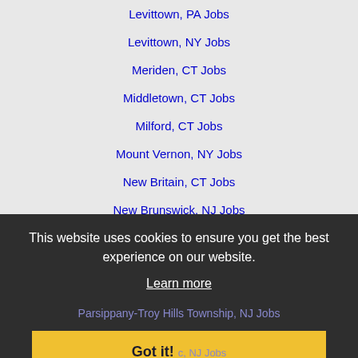Levittown, PA Jobs
Levittown, NY Jobs
Meriden, CT Jobs
Middletown, CT Jobs
Milford, CT Jobs
Mount Vernon, NY Jobs
New Britain, CT Jobs
New Brunswick, NJ Jobs
New Haven, CT Jobs
New Rochelle, NY Jobs
New York, NY Jobs
This website uses cookies to ensure you get the best experience on our website.
Learn more
Parsippany-Troy Hills Township, NJ Jobs
Got it!
Parsippany, NJ Jobs
Paterson, NJ Jobs
Perth Amboy, NJ Jobs